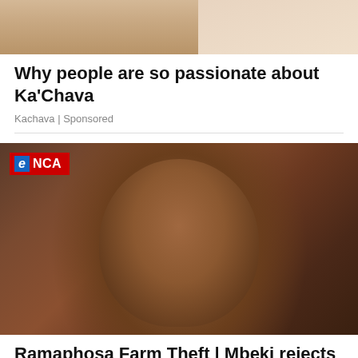[Figure (photo): Top cropped advertisement image showing hands and product for Ka'Chava]
Why people are so passionate about Ka'Chava
Kachava | Sponsored
[Figure (photo): eNCA news video thumbnail showing an elderly African man being interviewed, with eNCA logo overlay in top left corner]
Ramaphosa Farm Theft | Mbeki rejects Fraser 'collaboration' claims